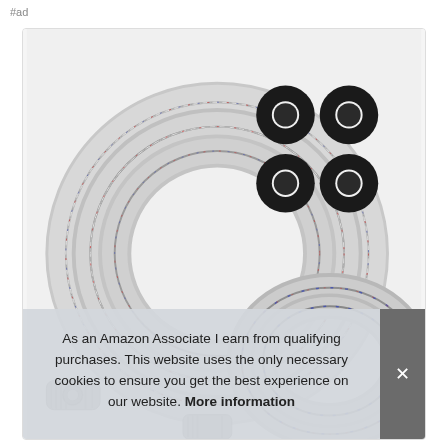#ad
[Figure (photo): Product photo of stainless steel braided washing machine hoses coiled together, with four black rubber gaskets/washers shown in the upper right corner. The braided hoses have a silvery metallic appearance with red and blue thread accents. Metal fittings are visible at the bottom left.]
As an Amazon Associate I earn from qualifying purchases. This website uses the only necessary cookies to ensure you get the best experience on our website. More information